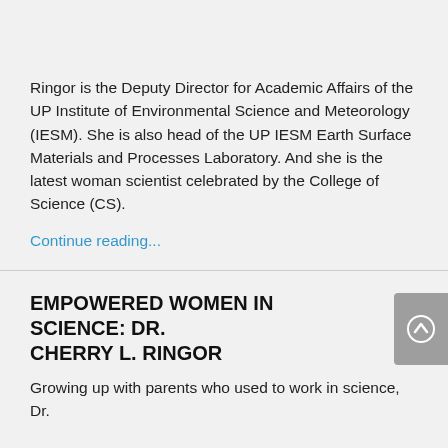Ringor is the Deputy Director for Academic Affairs of the UP Institute of Environmental Science and Meteorology (IESM). She is also head of the UP IESM Earth Surface Materials and Processes Laboratory. And she is the latest woman scientist celebrated by the College of Science (CS).
Continue reading...
EMPOWERED WOMEN IN SCIENCE: DR. CHERRY L. RINGOR
Growing up with parents who used to work in science, Dr.